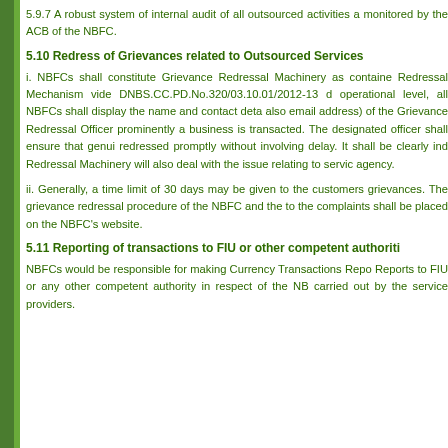5.9.7 A robust system of internal audit of all outsourced activities and monitored by the ACB of the NBFC.
5.10 Redress of Grievances related to Outsourced Services
i. NBFCs shall constitute Grievance Redressal Machinery as contained in Redressal Mechanism vide DNBS.CC.PD.No.320/03.10.01/2012-13 d operational level, all NBFCs shall display the name and contact deta also email address) of the Grievance Redressal Officer prominently a business is transacted. The designated officer shall ensure that genui redressed promptly without involving delay. It shall be clearly ind Redressal Machinery will also deal with the issue relating to servic agency.
ii. Generally, a time limit of 30 days may be given to the customers grievances. The grievance redressal procedure of the NBFC and the to the complaints shall be placed on the NBFC's website.
5.11 Reporting of transactions to FIU or other competent authoriti
NBFCs would be responsible for making Currency Transactions Repo Reports to FIU or any other competent authority in respect of the NB carried out by the service providers.